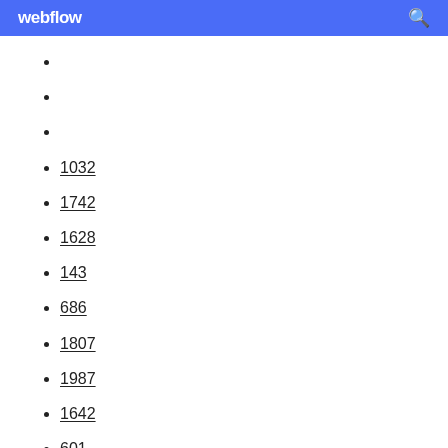webflow
1032
1742
1628
143
686
1807
1987
1642
601